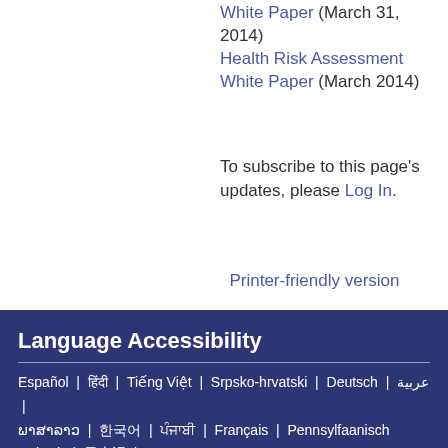White Paper (March 31, 2014) Health Risk Assessment White Paper (March 2014)
To subscribe to this page's updates, please Log In.
Printer-friendly version
Language Accessibility
Español | हिंदी | Tiếng Việt | Srpsko-hrvatski | Deutsch | عربية | ພາສາລາວ | 한국어 | ਪੰਜਾਬੀ | Français | Pennsylfaanisch Deitsch | 日本語 | Tagalog | Karen | Русский